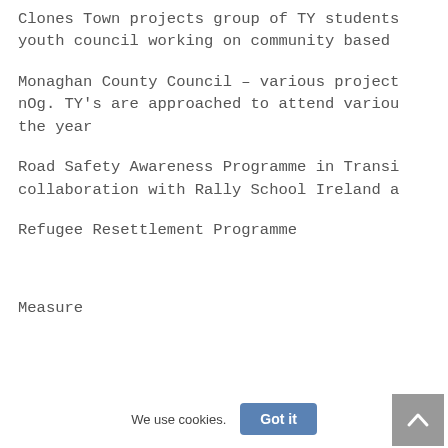Clones Town projects group of TY students youth council working on community based
Monaghan County Council – various project nOg. TY's are approached to attend variou the year
Road Safety Awareness Programme in Transi collaboration with Rally School Ireland a
Refugee Resettlement Programme
Measure